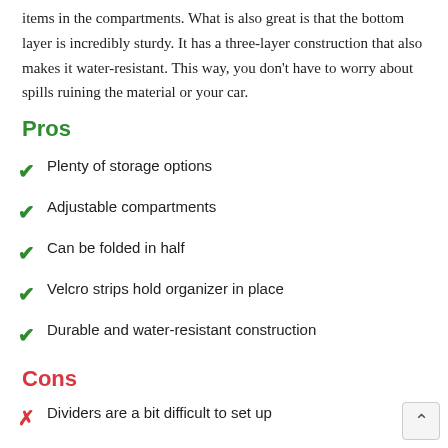items in the compartments. What is also great is that the bottom layer is incredibly sturdy. It has a three-layer construction that also makes it water-resistant. This way, you don't have to worry about spills ruining the material or your car.
Pros
Plenty of storage options
Adjustable compartments
Can be folded in half
Velcro strips hold organizer in place
Durable and water-resistant construction
Cons
Dividers are a bit difficult to set up